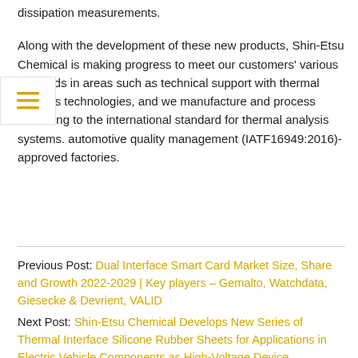dissipation measurements.
Along with the development of these new products, Shin-Etsu Chemical is making progress to meet our customers' various demands in areas such as technical support with thermal analysis technologies, and we manufacture and process according to the international standard for thermal analysis systems. automotive quality management (IATF16949:2016)-approved factories.
Previous Post: Dual Interface Smart Card Market Size, Share and Growth 2022-2029 | Key players – Gemalto, Watchdata, Giesecke & Devrient, VALID
Next Post: Shin-Etsu Chemical Develops New Series of Thermal Interface Silicone Rubber Sheets for Applications in Electric Vehicle Components as High-Voltage Device Technology Advances | Business